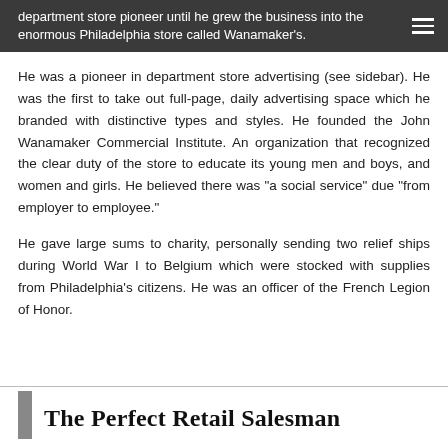department store pioneer until he grew the business into the enormous Philadelphia store called Wanamaker's.
He was a pioneer in department store advertising (see sidebar). He was the first to take out full-page, daily advertising space which he branded with distinctive types and styles. He founded the John Wanamaker Commercial Institute. An organization that recognized the clear duty of the store to educate its young men and boys, and women and girls. He believed there was “a social service” due “from employer to employee.”
He gave large sums to charity, personally sending two relief ships during World War I to Belgium which were stocked with supplies from Philadelphia’s citizens. He was an officer of the French Legion of Honor.
The Perfect Retail Salesman